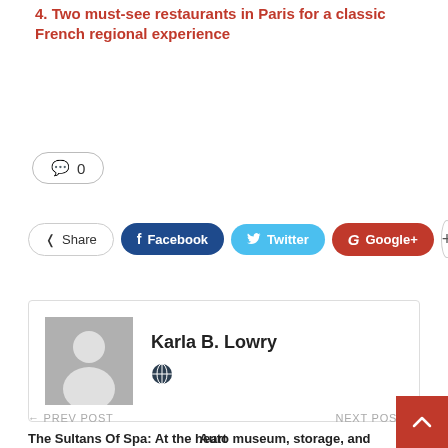4. Two must-see restaurants in Paris for a classic French regional experience
💬 0
Share  Facebook  Twitter  Google+  +
Karla B. Lowry
← PREV POST   The Sultans Of Spa: At the heart of the war of Parisian luxury hotels
NEXT POST →   Auto museum, storage, and event site come to Parker with new vehicle safe – The Denver Post